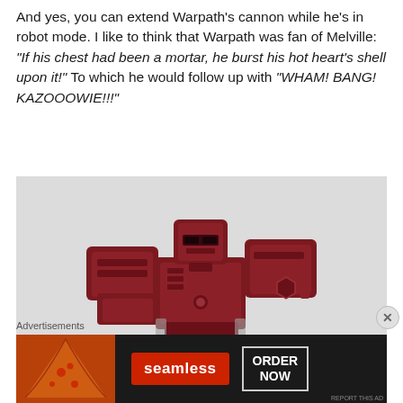And yes, you can extend Warpath's cannon while he's in robot mode. I like to think that Warpath was fan of Melville: "If his chest had been a mortar, he burst his hot heart's shell upon it!" To which he would follow up with "WHAM! BANG! KAZOOOWIE!!!"
[Figure (photo): A dark red/maroon Transformers Warpath robot action figure in robot mode, shown from the waist up against a light grey/white background. The robot has a distinctive blocky head with visor eyes, large boxy shoulders, and detailed mechanical chest armor.]
Advertisements
[Figure (screenshot): Advertisement banner for Seamless food delivery service. Shows pizza image on left, Seamless red logo in center, and 'ORDER NOW' button in a rectangle on the right, all on a dark background.]